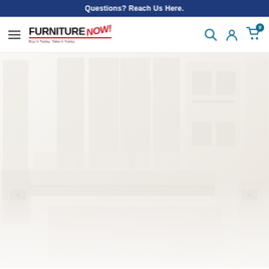Questions? Reach Us Here.
[Figure (logo): Furniture NOW! logo — Buy It Today. Take It Today. — in black bold text with red NOW! rotated, and a red underline/swoosh]
[Figure (photo): Faded/washed-out interior furniture showroom scene showing bedroom or living room furniture pieces in a very light, nearly white color treatment]